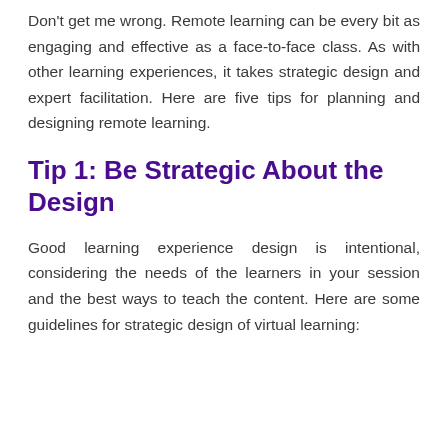Don't get me wrong. Remote learning can be every bit as engaging and effective as a face-to-face class. As with other learning experiences, it takes strategic design and expert facilitation. Here are five tips for planning and designing remote learning.
Tip 1: Be Strategic About the Design
Good learning experience design is intentional, considering the needs of the learners in your session and the best ways to teach the content. Here are some guidelines for strategic design of virtual learning: